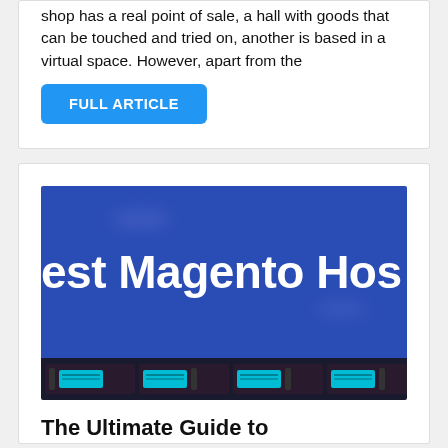shop has a real point of sale, a hall with goods that can be touched and tried on, another is based in a virtual space. However, apart from the
FULL ARTICLE
[Figure (screenshot): Blue banner image with white bold text reading 'est Magento Hos' (partially visible), with decorative cloud shapes and a strip of server rack units at the bottom]
The Ultimate Guide to